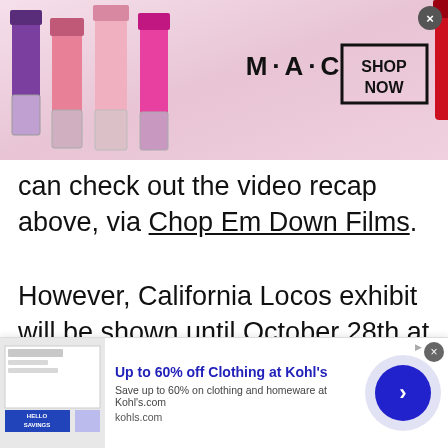[Figure (illustration): MAC Cosmetics advertisement banner showing colorful lipstick tubes on the left, MAC logo in the center, and a 'SHOP NOW' box with a red lipstick on the right. A close button (×) is in the top-right corner.]
can check out the video recap above, via Chop Em Down Films.
However, California Locos exhibit will be shown until October 28th at the Eastern Projects Gallery, located at: 900 N Broadway Suite 1090, Los Angeles, California 90012. Visit the website for more info.
[Figure (illustration): Kohl's advertisement banner showing a thumbnail image of savings promotions on the left, text 'Up to 60% off Clothing at Kohl's' in blue bold, description 'Save up to 60% on clothing and homeware at Kohl's.com', domain 'kohls.com', and a blue circle with a right-arrow chevron on the right.]